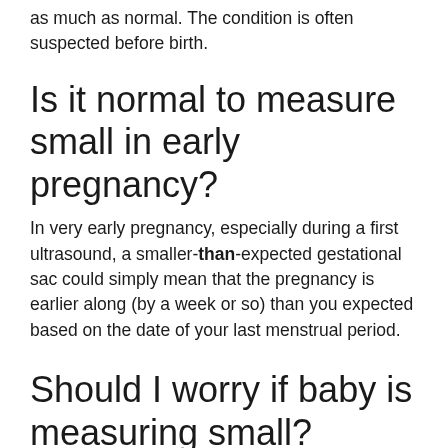as much as normal. The condition is often suspected before birth.
Is it normal to measure small in early pregnancy?
In very early pregnancy, especially during a first ultrasound, a smaller-than-expected gestational sac could simply mean that the pregnancy is earlier along (by a week or so) than you expected based on the date of your last menstrual period.
Should I worry if baby is measuring small?
No, there's not necessarily anything wrong if your baby is small for dates...